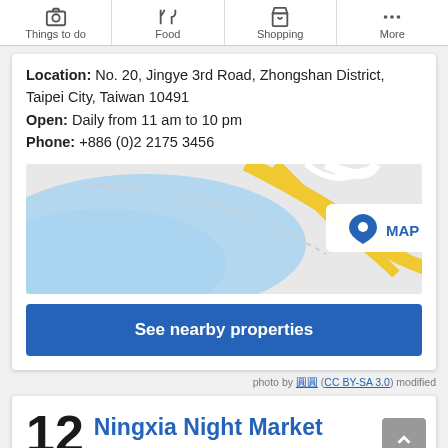Things to do | Food | Shopping | More
Location: No. 20, Jingye 3rd Road, Zhongshan District, Taipei City, Taiwan 10491
Open: Daily from 11 am to 10 pm
Phone: +886 (0)2 21753456
[Figure (map): Map showing location near a river in Taipei with yellow road markings and a MAP button overlay]
See nearby properties
photo by 圓圓 (CC BY-SA 3.0) modified
12 Ningxia Night Market